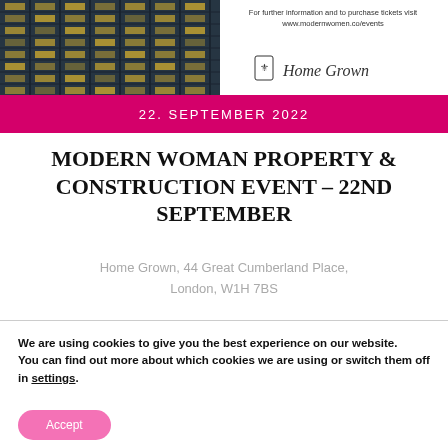[Figure (photo): Modern glass building exterior with yellow-lit windows at night]
For further information and to purchase tickets visit www.modernwomen.co/events
[Figure (illustration): Signature/logo handwritten script resembling 'Home Grown']
22. SEPTEMBER 2022
MODERN WOMAN PROPERTY & CONSTRUCTION EVENT – 22ND SEPTEMBER
Home Grown, 44 Great Cumberland Place, London, W1H 7BS
We are using cookies to give you the best experience on our website.
You can find out more about which cookies we are using or switch them off in settings.